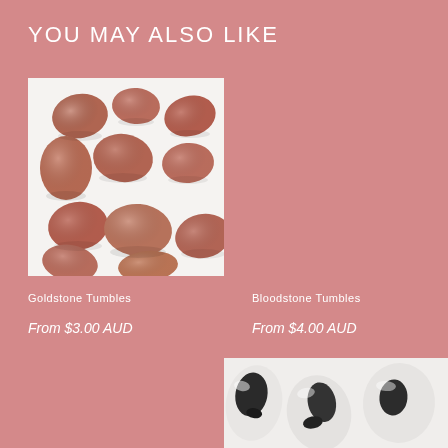YOU MAY ALSO LIKE
[Figure (photo): Multiple reddish-brown tumbled goldstone crystals/rocks scattered on a white background]
Goldstone Tumbles
From $3.00 AUD
Bloodstone Tumbles
From $4.00 AUD
[Figure (photo): Partial view of black and white tumbled stones on white background, visible in bottom right corner]